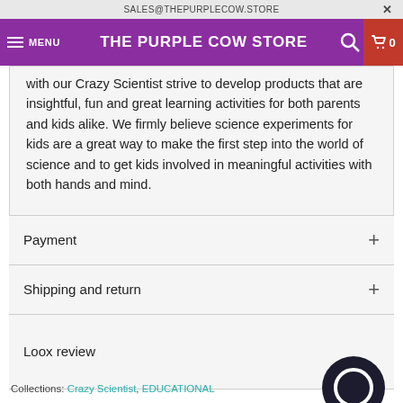SALES@THEPURPLECOW.STORE
THE PURPLE COW STORE MENU
with our Crazy Scientist strive to develop products that are insightful, fun and great learning activities for both parents and kids alike. We firmly believe science experiments for kids are a great way to make the first step into the world of science and to get kids involved in meaningful activities with both hands and mind.
Payment
Shipping and return
Loox review
Collections: Crazy Scientist, EDUCATIONAL